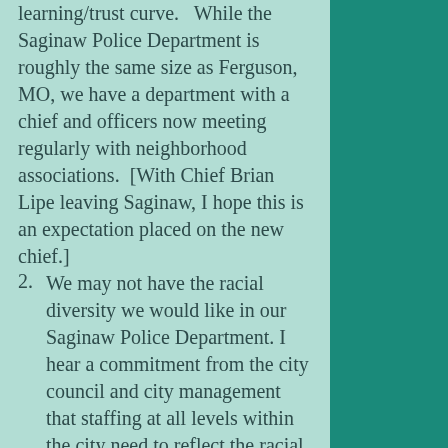learning/trust curve.   While the Saginaw Police Department is roughly the same size as Ferguson, MO, we have a department with a chief and officers now meeting regularly with neighborhood associations.  [With Chief Brian Lipe leaving Saginaw, I hope this is an expectation placed on the new chief.]
2. We may not have the racial diversity we would like in our Saginaw Police Department. I hear a commitment from the city council and city management that staffing at all levels within the city need to reflect the racial diversity found within the community. I appreciate hearing that the City Council is proactive in finding creative new ways to